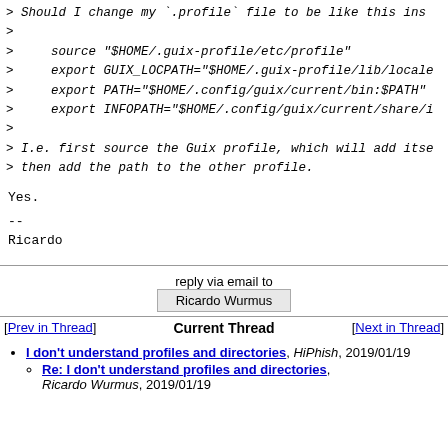> Should I change my `.profile` file to be like this ins
>
>     source "$HOME/.guix-profile/etc/profile"
>     export GUIX_LOCPATH="$HOME/.guix-profile/lib/locale
>     export PATH="$HOME/.config/guix/current/bin:$PATH"
>     export INFOPATH="$HOME/.config/guix/current/share/i
>
> I.e. first source the Guix profile, which will add itse
> then add the path to the other profile.
Yes.
--
Ricardo
reply via email to
Ricardo Wurmus
[Prev in Thread]     Current Thread     [Next in Thread]
I don't understand profiles and directories, HiPhish, 2019/01/19
Re: I don't understand profiles and directories, Ricardo Wurmus, 2019/01/19